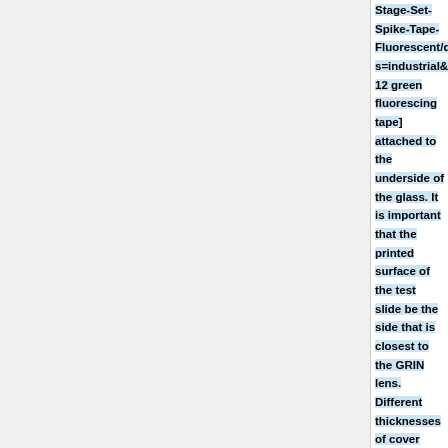Stage-Set-Spike-Tape-Fluorescent/dp/B00QDVNH0/ref=sr_1_12?s=industrial&srs=2529683011&ie=UTF8&qid=1461180753&sr=1-12 green fluorescing tape] attached to the underside of the glass. It is important that the printed surface of the test slide be the side that is closest to the GRIN lens. Different thicknesses of cover glass can be used between the test slide and GRIN lens to get a